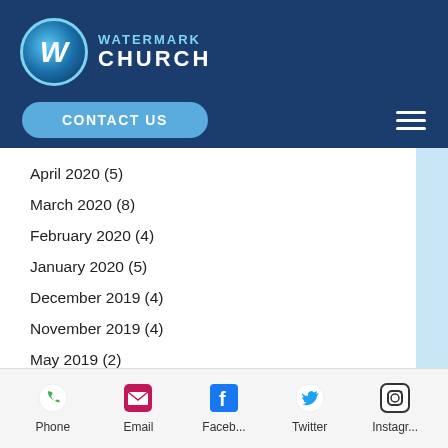[Figure (logo): Watermark Church logo with circular W emblem and text WATERMARK CHURCH on dark blue header background]
CONTACT US
April 2020 (5)
March 2020 (8)
February 2020 (4)
January 2020 (5)
December 2019 (4)
November 2019 (4)
May 2019 (2)
April 2019 (2)
March 2019 (2)
February 2019 (5)
January 2019 (2)
December 2018 (2)
Phone  Email  Faceb...  Twitter  Instagr...